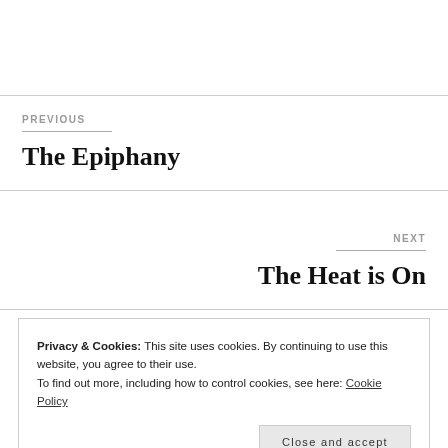PREVIOUS
The Epiphany
NEXT
The Heat is On
Privacy & Cookies: This site uses cookies. By continuing to use this website, you agree to their use.
To find out more, including how to control cookies, see here: Cookie Policy
Close and accept